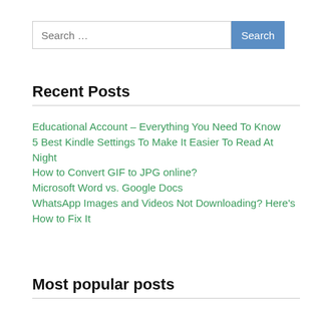[Figure (other): Search bar with text input placeholder 'Search ...' and a blue 'Search' button]
Recent Posts
Educational Account – Everything You Need To Know
5 Best Kindle Settings To Make It Easier To Read At Night
How to Convert GIF to JPG online?
Microsoft Word vs. Google Docs
WhatsApp Images and Videos Not Downloading? Here's How to Fix It
Most popular posts